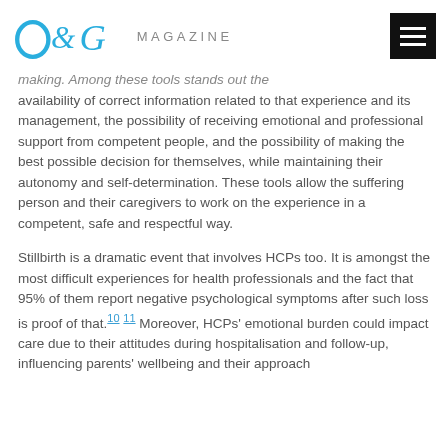O&G MAGAZINE
making. Among these tools stands out the availability of correct information related to that experience and its management, the possibility of receiving emotional and professional support from competent people, and the possibility of making the best possible decision for themselves, while maintaining their autonomy and self-determination. These tools allow the suffering person and their caregivers to work on the experience in a competent, safe and respectful way.
Stillbirth is a dramatic event that involves HCPs too. It is amongst the most difficult experiences for health professionals and the fact that 95% of them report negative psychological symptoms after such loss is proof of that.10 11 Moreover, HCPs' emotional burden could impact care due to their attitudes during hospitalisation and follow-up, influencing parents' wellbeing and their approach